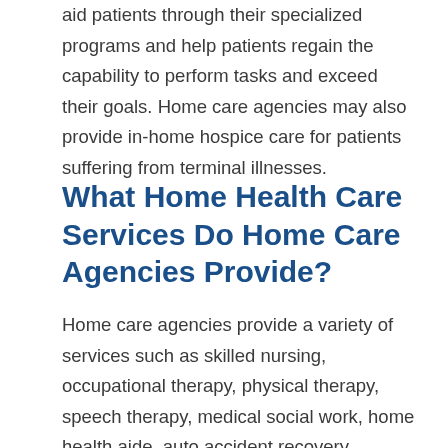aid patients through their specialized programs and help patients regain the capability to perform tasks and exceed their goals. Home care agencies may also provide in-home hospice care for patients suffering from terminal illnesses.
What Home Health Care Services Do Home Care Agencies Provide?
Home care agencies provide a variety of services such as skilled nursing, occupational therapy, physical therapy, speech therapy, medical social work, home health aide, auto accident recovery, worker's compensation recovery. Home health care agencies provide personalized programs for patients who have difficulty leaving the home or limited access to